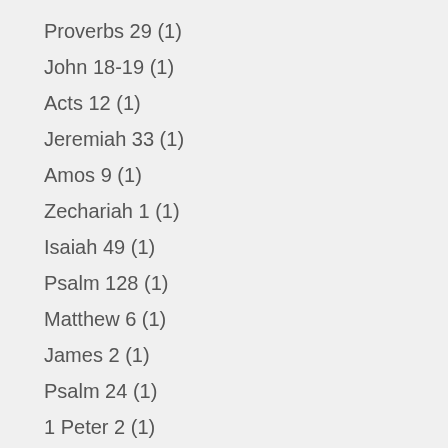Proverbs 29 (1)
John 18-19 (1)
Acts 12 (1)
Jeremiah 33 (1)
Amos 9 (1)
Zechariah 1 (1)
Isaiah 49 (1)
Psalm 128 (1)
Matthew 6 (1)
James 2 (1)
Psalm 24 (1)
1 Peter 2 (1)